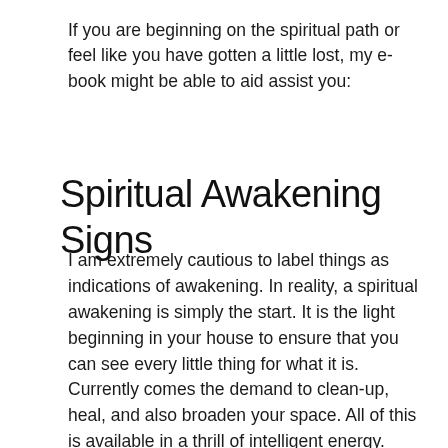If you are beginning on the spiritual path or feel like you have gotten a little lost, my e-book might be able to aid assist you:
Spiritual Awakening Signs
I am extremely cautious to label things as indications of awakening. In reality, a spiritual awakening is simply the start. It is the light beginning in your house to ensure that you can see every little thing for what it is. Currently comes the demand to clean-up, heal, and also broaden your space. All of this is available in a thrill of intelligent energy. Occasionally, it can really feel so solid that the unconscious vanity that may be sticking